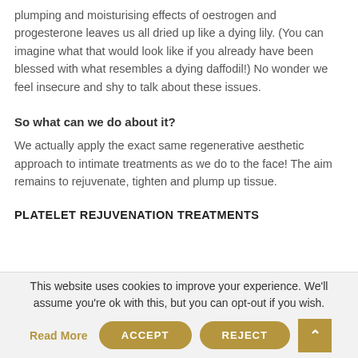plumping and moisturising effects of oestrogen and progesterone leaves us all dried up like a dying lily. (You can imagine what that would look like if you already have been blessed with what resembles a dying daffodil!) No wonder we feel insecure and shy to talk about these issues.
So what can we do about it?
We actually apply the exact same regenerative aesthetic approach to intimate treatments as we do to the face! The aim remains to rejuvenate, tighten and plump up tissue.
PLATELET REJUVENATION TREATMENTS
This website uses cookies to improve your experience. We'll assume you're ok with this, but you can opt-out if you wish.